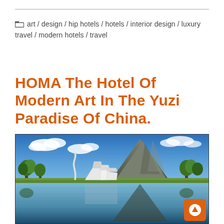art / design / hip hotels / hotels / interior design / luxury travel / modern hotels / travel
HOMA The Hotel Of Modern Art In The Yuzi Paradise Of China.
[Figure (photo): Aerial/wide view of HOMA Hotel of Modern Art at Yuzi Paradise, China, showing angular white modern architecture with a large karst limestone mountain behind it, green trees on both sides, and a reflective lake/pond in the foreground mirroring the mountain and buildings. Blue sky with white clouds above.]